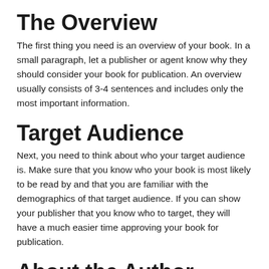The Overview
The first thing you need is an overview of your book. In a small paragraph, let a publisher or agent know why they should consider your book for publication. An overview usually consists of 3-4 sentences and includes only the most important information.
Target Audience
Next, you need to think about who your target audience is. Make sure that you know who your book is most likely to be read by and that you are familiar with the demographics of that target audience. If you can show your publisher that you know who to target, they will have a much easier time approving your book for publication.
About the Author
You also want to make sure that you include information